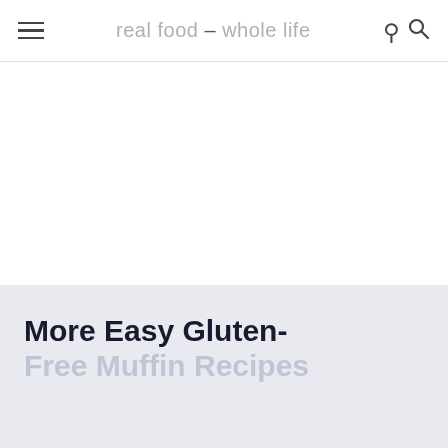real food – whole life
More Easy Gluten-Free Muffin Recipes